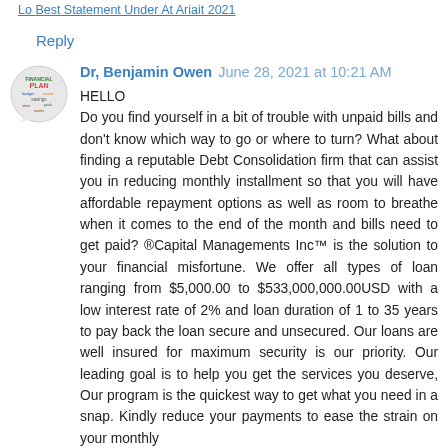Lo Best Statement Under At Ariait 2021
Reply
[Figure (logo): Financial Plan word cloud logo — circular badge with colorful text words related to financial planning]
Dr, Benjamin Owen  June 28, 2021 at 10:21 AM
HELLO
Do you find yourself in a bit of trouble with unpaid bills and don't know which way to go or where to turn? What about finding a reputable Debt Consolidation firm that can assist you in reducing monthly installment so that you will have affordable repayment options as well as room to breathe when it comes to the end of the month and bills need to get paid? ®Capital Managements Inc™ is the solution to your financial misfortune. We offer all types of loan ranging from $5,000.00 to $533,000,000.00USD with a low interest rate of 2% and loan duration of 1 to 35 years to pay back the loan secure and unsecured. Our loans are well insured for maximum security is our priority. Our leading goal is to help you get the services you deserve, Our program is the quickest way to get what you need in a snap. Kindly reduce your payments to ease the strain on your monthly